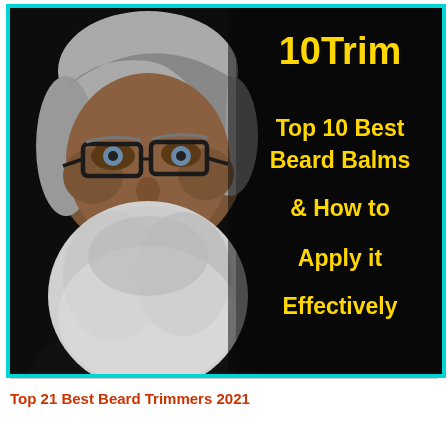[Figure (photo): Photo of an older man with a large white/gray beard and glasses on a dark background. The image has a cyan/teal border. On the right side of the image, bold yellow text reads '10Trim' at the top and 'Top 10 Best Beard Balms & How to Apply it Effectively' below.]
Top 21 Best Beard Trimmers 2021